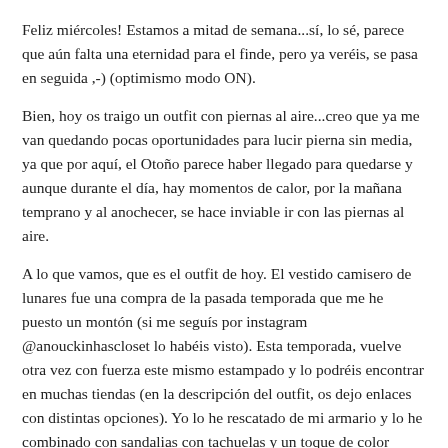Feliz miércoles! Estamos a mitad de semana...sí, lo sé, parece que aún falta una eternidad para el finde, pero ya veréis, se pasa en seguida ,-) (optimismo modo ON).
Bien, hoy os traigo un outfit con piernas al aire...creo que ya me van quedando pocas oportunidades para lucir pierna sin media, ya que por aquí, el Otoño parece haber llegado para quedarse y aunque durante el día, hay momentos de calor, por la mañana temprano y al anochecer, se hace inviable ir con las piernas al aire.
A lo que vamos, que es el outfit de hoy. El vestido camisero de lunares fue una compra de la pasada temporada que me he puesto un montón (si me seguís por instagram @anouckinhascloset lo habéis visto). Esta temporada, vuelve otra vez con fuerza este mismo estampado y lo podréis encontrar en muchas tiendas (en la descripción del outfit, os dejo enlaces con distintas opciones). Yo lo he rescatado de mi armario y lo he combinado con sandalias con tachuelas y un toque de color mediante el bolso, que ha sido un regalo de mi madre.
Para este tipo de vestidos, me gusta usar un cinturón finito que lo